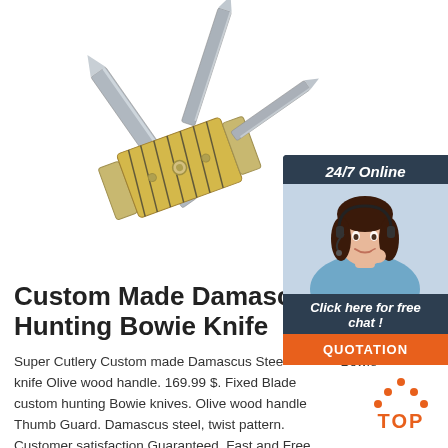[Figure (photo): A folding pocket knife with yellow and black bone/jigged handle, multiple blades open, on white background]
[Figure (infographic): 24/7 Online chat widget with dark blue background, woman with headset, 'Click here for free chat!' text and orange QUOTATION button]
Custom Made Damascus Steel Hunting Bowie Knife
Super Cutlery Custom made Damascus Steel Hunting Bowie knife Olive wood handle. 169.99 $. Fixed Blade custom hunting Bowie knives. Olive wood handle Thumb Guard. Damascus steel, twist pattern. Customer satisfaction Guaranteed. Fast and Free Shipping via USPS Priority Mail. SC-601.
[Figure (logo): Orange TOP badge with upward arrow dots above the word TOP]